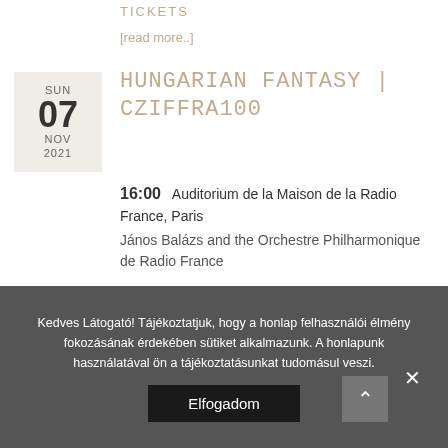TICKETS
[read more..]
SUN 07 NOV 2021
Hungarian Fantasy | Cziffra100
16:00  Auditorium de la Maison de la Radio France, Paris
János Balázs and the Orchestre Philharmonique de Radio France
TICKETS
[read more..]
Kedves Látogató! Tájékoztatjuk, hogy a honlap felhasználói élmény fokozásának érdekében sütiket alkalmazunk. A honlapunk használatával ön a tájékoztatásunkat tudomásul veszi.
Elfogadom